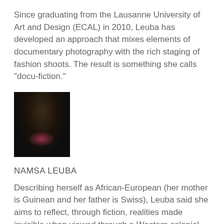Since graduating from the Lausanne University of Art and Design (ECAL) in 2010, Leuba has developed an approach that mixes elements of documentary photography with the rich staging of fashion shoots. The result is something she calls “docu-fiction.”
[Figure (photo): Small dark portrait photo of Namsa Leuba with a pink/reddish accent at the bottom center]
NAMSA LEUBA
Describing herself as African-European (her mother is Guinean and her father is Swiss), Leuba said she aims to reflect, through fiction, realities made invisible when viewed through a Western colonial lens.